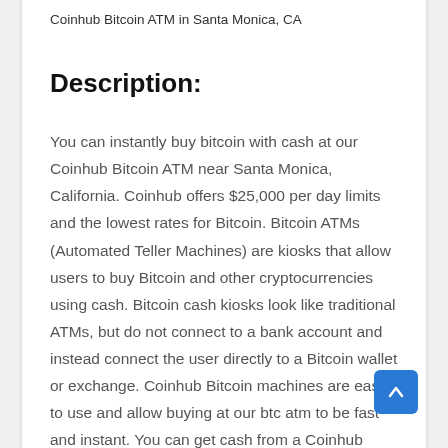Coinhub Bitcoin ATM in Santa Monica, CA
Description:
You can instantly buy bitcoin with cash at our Coinhub Bitcoin ATM near Santa Monica, California. Coinhub offers $25,000 per day limits and the lowest rates for Bitcoin. Bitcoin ATMs (Automated Teller Machines) are kiosks that allow users to buy Bitcoin and other cryptocurrencies using cash. Bitcoin cash kiosks look like traditional ATMs, but do not connect to a bank account and instead connect the user directly to a Bitcoin wallet or exchange. Coinhub Bitcoin machines are easy to use and allow buying at our btc atm to be fast and instant. You can get cash from a Coinhub Bitcoin Machine if you are located near one. Many Coinhub Bitcoin ATMs allow you to buy and sell cryptocurrency for cash. You can buy Bitcoin using